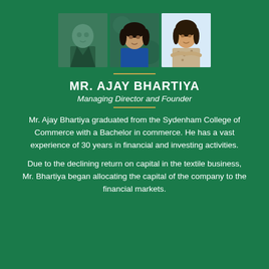[Figure (photo): Three portrait photos of individuals: a man in a suit on the left (partially visible/faded), a woman in blue in the center, and a woman in casual attire on the right.]
MR. AJAY BHARTIYA
Managing Director and Founder
Mr. Ajay Bhartiya graduated from the Sydenham College of Commerce with a Bachelor in commerce. He has a vast experience of 30 years in financial and investing activities.
Due to the declining return on capital in the textile business, Mr. Bhartiya began allocating the capital of the company to the financial markets.